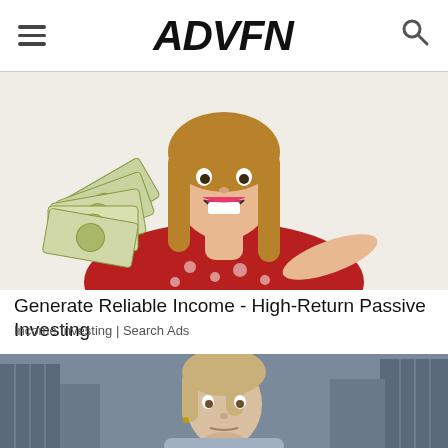ADVFN
[Figure (photo): Woman in red polka-dot top holding a fan of US dollar bills, smiling excitedly, pointing at the money. White background.]
Generate Reliable Income - High-Return Passive Investing
Income Investing | Search Ads
[Figure (photo): Blonde woman in business attire looking thoughtful or concerned, resting chin on hand, urban building background.]